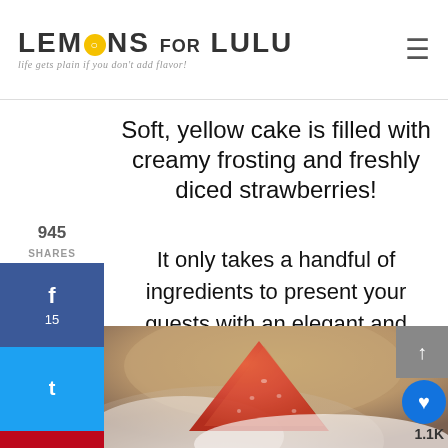LEMONS FOR LULU — life gets plain if you don't add flavor!
945 SHARES
Soft, yellow cake is filled with creamy frosting and freshly diced strawberries!
It only takes a handful of ingredients to present your guests with an elegant and delicious dessert!
[Figure (photo): Close-up photo of a strawberry cake slice with white frosting and a fresh strawberry on top, blurred background with warm tones.]